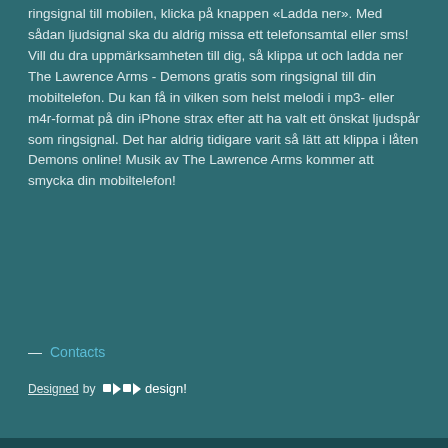ringsignal till mobilen, klicka på knappen «Ladda ner». Med sådan ljudsignal ska du aldrig missa ett telefonsamtal eller sms! Vill du dra uppmärksamheten till dig, så klippa ut och ladda ner The Lawrence Arms - Demons gratis som ringsignal till din mobiltelefon. Du kan få in vilken som helst melodi i mp3- eller m4r-format på din iPhone strax efter att ha valt ett önskat ljudspår som ringsignal. Det har aldrig tidigare varit så lätt att klippa i låten Demons online! Musik av The Lawrence Arms kommer att smycka din mobiltelefon!
— Contacts
Designed by [logo] design!